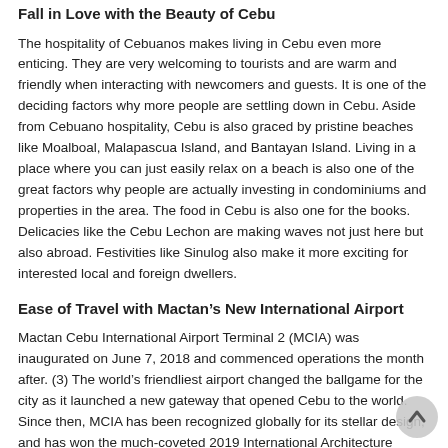Fall in Love with the Beauty of Cebu
The hospitality of Cebuanos makes living in Cebu even more enticing. They are very welcoming to tourists and are warm and friendly when interacting with newcomers and guests. It is one of the deciding factors why more people are settling down in Cebu. Aside from Cebuano hospitality, Cebu is also graced by pristine beaches like Moalboal, Malapascua Island, and Bantayan Island. Living in a place where you can just easily relax on a beach is also one of the great factors why people are actually investing in condominiums and properties in the area. The food in Cebu is also one for the books. Delicacies like the Cebu Lechon are making waves not just here but also abroad. Festivities like Sinulog also make it more exciting for interested local and foreign dwellers.
Ease of Travel with Mactan’s New International Airport
Mactan Cebu International Airport Terminal 2 (MCIA) was inaugurated on June 7, 2018 and commenced operations the month after. (3) The world’s friendliest airport changed the ballgame for the city as it launched a new gateway that opened Cebu to the world. Since then, MCIA has been recognized globally for its stellar design, and has won the much-coveted 2019 International Architecture Awards (IAA) for its unique eco-friendly Filipino-themed design. (4) Overall, the